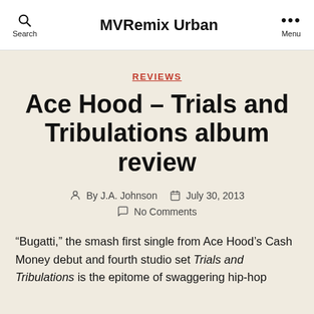MVRemix Urban
REVIEWS
Ace Hood – Trials and Tribulations album review
By J.A. Johnson   July 30, 2013   No Comments
“Bugatti,” the smash first single from Ace Hood’s Cash Money debut and fourth studio set Trials and Tribulations is the epitome of swaggering hip-hop